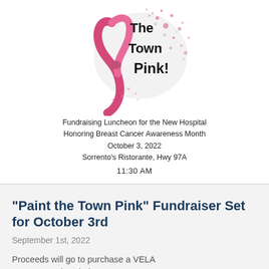[Figure (illustration): Paint the Town Pink breast cancer awareness ribbon with pink and silver splatter design, with text 'The Town Pink!' overlaid]
Fundraising Luncheon for the New Hospital
Honoring Breast Cancer Awareness Month
October 3, 2022
Sorrento's Ristorante, Hwy 97A
11:30 AM
“Paint the Town Pink” Fundraiser Set for October 3rd
September 1st, 2022
Proceeds will go to purchase a VELA Mammography Chair
Read More ›
Translate / Traducir »